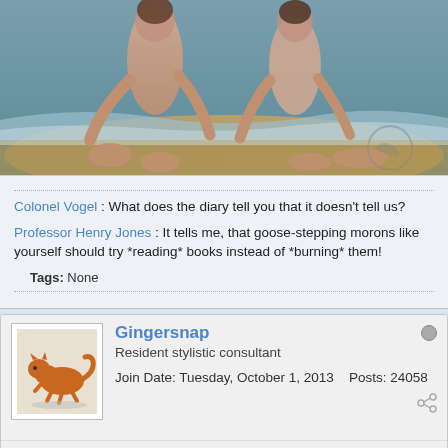[Figure (photo): Cropped classical painting showing two figures sitting on a rocky shore near water, partial view of bodies and feet]
Colonel Vogel : What does the diary tell you that it doesn't tell us?
Professor Henry Jones : It tells me, that goose-stepping morons like yourself should try *reading* books instead of *burning* them!
Tags: None
Gingersnap
Resident stylistic consultant
Join Date: Tuesday, October 1, 2013    Posts: 24058
Friday, November 8, 2013, 3:14 PM    #2